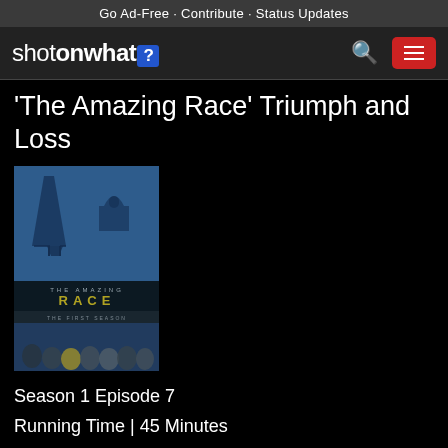Go Ad-Free - Contribute - Status Updates
[Figure (logo): ShotOnWhat? website logo with blue question mark badge, search icon, and red hamburger menu button]
'The Amazing Race' Triumph and Loss
[Figure (photo): The Amazing Race: The First Season DVD cover art showing Eiffel Tower, world landmarks, cast members in blue misty composite]
Season 1 Episode 7
Running Time | 45 Minutes
Color | Color
Sound | Stereo
Language | English